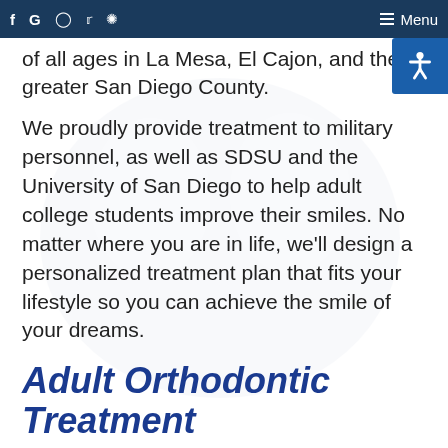f G [instagram] [twitter] [yelp]   ☰ Menu
of all ages in La Mesa, El Cajon, and the greater San Diego County.
We proudly provide treatment to military personnel, as well as SDSU and the University of San Diego to help adult college students improve their smiles. No matter where you are in life, we'll design a personalized treatment plan that fits your lifestyle so you can achieve the smile of your dreams.
Adult Orthodontic Treatment
Healthy teeth can be moved at any age, and straightening teeth dramatically improves your overall health, oral and dental hygiene, physical appearance, and psychological well-being. Straightening your smile